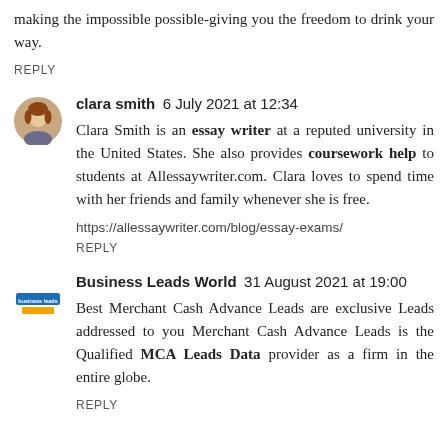making the impossible possible-giving you the freedom to drink your way.
REPLY
clara smith  6 July 2021 at 12:34
Clara Smith is an essay writer at a reputed university in the United States. She also provides coursework help to students at Allessaywriter.com. Clara loves to spend time with her friends and family whenever she is free.
https://allessaywriter.com/blog/essay-exams/
REPLY
Business Leads World  31 August 2021 at 19:00
Best Merchant Cash Advance Leads are exclusive Leads addressed to you Merchant Cash Advance Leads is the Qualified MCA Leads Data provider as a firm in the entire globe.
REPLY